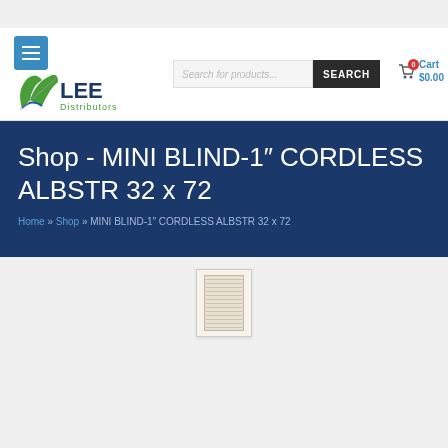[Figure (logo): Lee Distributors logo with stylized leaf/checkmark and LEE text in blue, Distributors in green]
Search for products...
SEARCH
Cart $0.00
Shop - MINI BLIND-1″ CORDLESS ALBSTR 32 x 72
Home » Shop » MINI BLIND-1″ CORDLESS ALBSTR 32 x 72
[Figure (photo): Small product thumbnail image of a mini blind, beige/cream color]